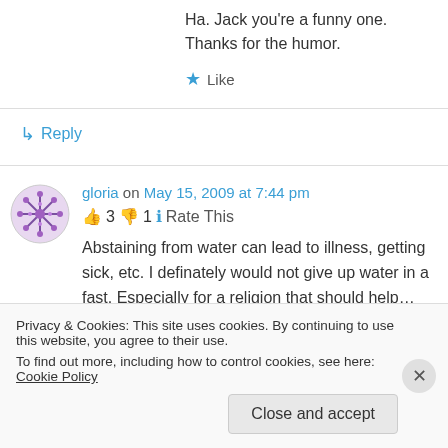Ha. Jack you're a funny one. Thanks for the humor.
★ Like
↳ Reply
gloria on May 15, 2009 at 7:44 pm
👍 3 👎 1 ℹ Rate This
Abstaining from water can lead to illness, getting sick, etc. I definately would not give up water in a fast. Especially for a religion that should help…
Privacy & Cookies: This site uses cookies. By continuing to use this website, you agree to their use.
To find out more, including how to control cookies, see here: Cookie Policy
Close and accept